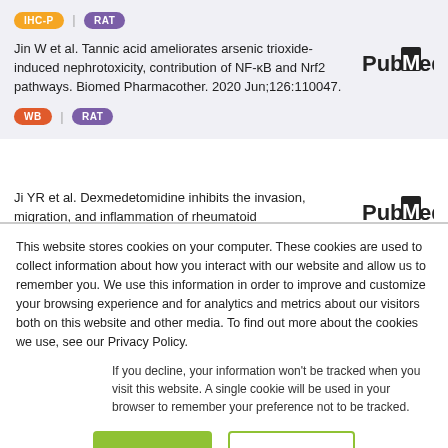[Figure (other): IHC-P and RAT badge pills at top of page]
Jin W et al. Tannic acid ameliorates arsenic trioxide-induced nephrotoxicity, contribution of NF-κB and Nrf2 pathways. Biomed Pharmacother. 2020 Jun;126:110047.
[Figure (logo): PubMed logo]
[Figure (other): WB and RAT badge pills]
Ji YR et al. Dexmedetomidine inhibits the invasion, migration, and inflammation of rheumatoid
[Figure (logo): PubMed logo]
This website stores cookies on your computer. These cookies are used to collect information about how you interact with our website and allow us to remember you. We use this information in order to improve and customize your browsing experience and for analytics and metrics about our visitors both on this website and other media. To find out more about the cookies we use, see our Privacy Policy.
If you decline, your information won't be tracked when you visit this website. A single cookie will be used in your browser to remember your preference not to be tracked.
Accept
Decline